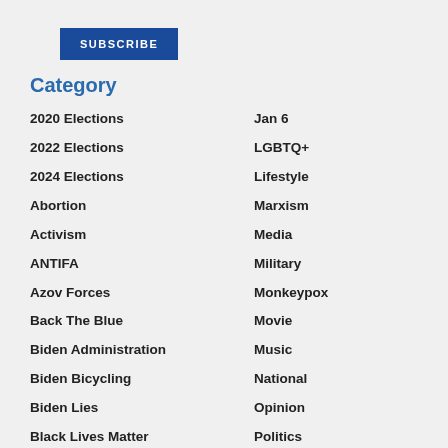[Figure (other): Subscribe button — blue rectangle with white bold uppercase text 'SUBSCRIBE']
Category
2020 Elections
2022 Elections
2024 Elections
Abortion
Activism
ANTIFA
Azov Forces
Back The Blue
Biden Administration
Biden Bicycling
Biden Lies
Black Lives Matter
Border Crisis
Jan 6
LGBTQ+
Lifestyle
Marxism
Media
Military
Monkeypox
Movie
Music
National
Opinion
Politics
Racism